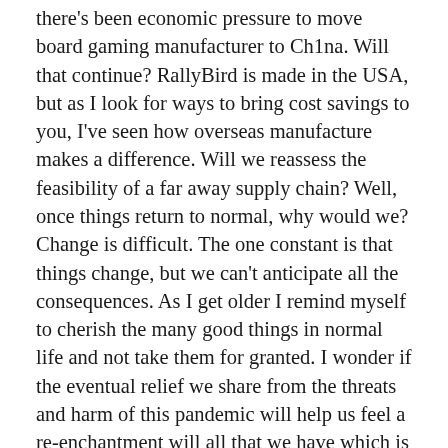there's been economic pressure to move board gaming manufacturer to Ch1na. Will that continue? RallyBird is made in the USA, but as I look for ways to bring cost savings to you, I've seen how overseas manufacture makes a difference. Will we reassess the feasibility of a far away supply chain? Well, once things return to normal, why would we? Change is difficult. The one constant is that things change, but we can't anticipate all the consequences. As I get older I remind myself to cherish the many good things in normal life and not take them for granted. I wonder if the eventual relief we share from the threats and harm of this pandemic will help us feel a re-enchantment will all that we have which is already so wonderful.